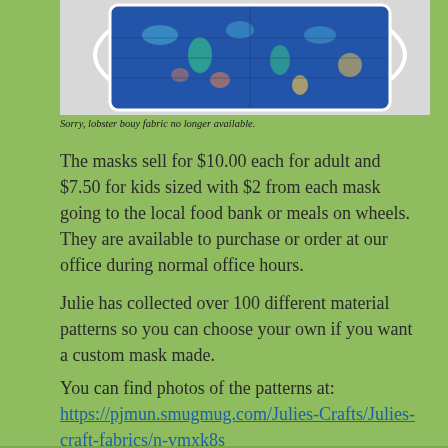[Figure (photo): A fabric face mask with colorful ocean-themed pattern (seahorses, fish, marine life) on blue background, shown with white ear loops, against a light background.]
Sorry, lobster bouy fabric no longer available.
The masks sell for $10.00 each for adult and $7.50 for kids sized with $2 from each mask going to the local food bank or meals on wheels. They are available to purchase or order at our office during normal office hours.
Julie has collected over 100 different material patterns so you can choose your own if you want a custom mask made.
You can find photos of the patterns at: https://pjmun.smugmug.com/Julies-Crafts/Julies-craft-fabrics/n-vmxk8s